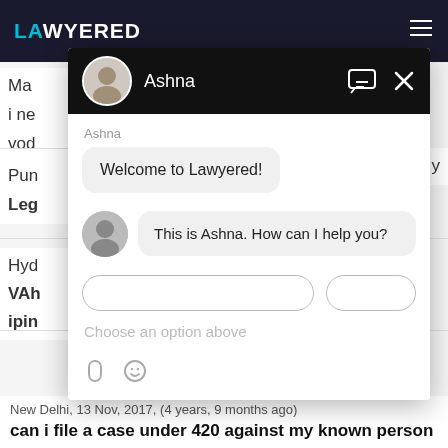LAWYERED
i ne
vod
Pun
Leg
Hyd
VAh
ipin
[Figure (screenshot): Chat widget overlay from Lawyered website. Header shows avatar and name 'Ashna' with message and close icons on black background. Chat body shows two messages: 'Welcome to Lawyered!' and 'This is Ashna. How can I help you?'. Below is a button row, placeholder 'Choose an option above', and footer icons for attachment and emoji.]
New Delhi,  13 Nov, 2017,  (4 years, 9 months ago)
can i file a case under 420 against my known person